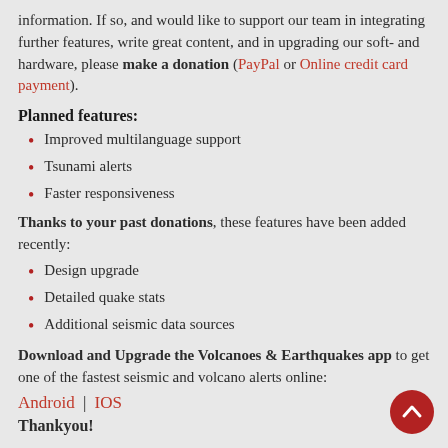information. If so, and would like to support our team in integrating further features, write great content, and in upgrading our soft- and hardware, please make a donation (PayPal or Online credit card payment).
Planned features:
Improved multilanguage support
Tsunami alerts
Faster responsiveness
Thanks to your past donations, these features have been added recently:
Design upgrade
Detailed quake stats
Additional seismic data sources
Download and Upgrade the Volcanoes & Earthquakes app to get one of the fastest seismic and volcano alerts online:
Android | IOS
Thank you!